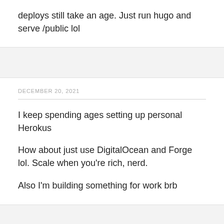deploys still take an age. Just run hugo and serve /public lol
DECEMBER 20, 2021
I keep spending ages setting up personal Herokus
How about just use DigitalOcean and Forge lol. Scale when you’re rich, nerd.
Also I’m building something for work brb